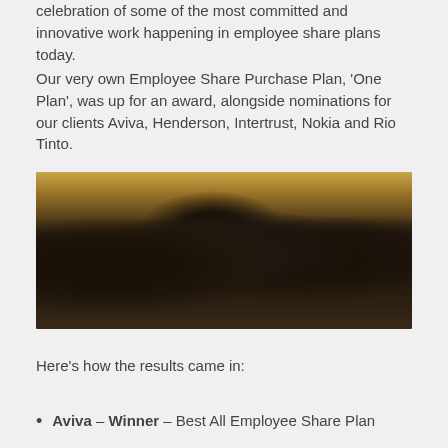celebration of some of the most committed and innovative work happening in employee share plans today.
Our very own Employee Share Purchase Plan, 'One Plan', was up for an award, alongside nominations for our clients Aviva, Henderson, Intertrust, Nokia and Rio Tinto.
[Figure (photo): Group photo of people celebrating at an awards ceremony, holding framed award certificates, dressed in formal attire, in an elegant room with gold curtains and bookshelves.]
Here's how the results came in:
Aviva – Winner – Best All Employee Share Plan